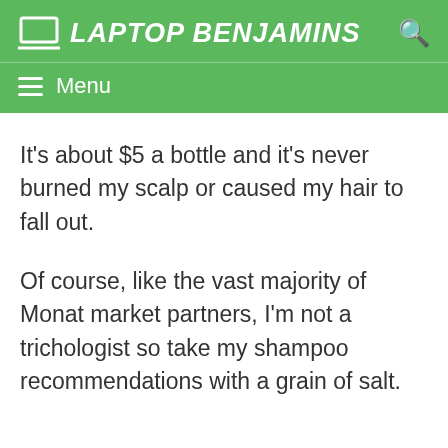LAPTOP BENJAMINS
Menu
It's about $5 a bottle and it's never burned my scalp or caused my hair to fall out.
Of course, like the vast majority of Monat market partners, I'm not a trichologist so take my shampoo recommendations with a grain of salt.